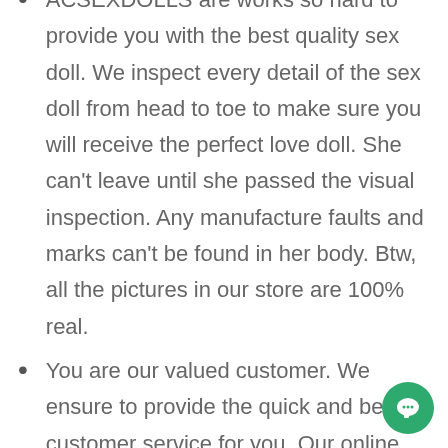ACSEXDOLLS are works so hard to provide you with the best quality sex doll. We inspect every detail of the sex doll from head to toe to make sure you will receive the perfect love doll. She can't leave until she passed the visual inspection. Any manufacture faults and marks can't be found in her body. Btw, all the pictures in our store are 100% real.
You are our valued customer. We ensure to provide the quick and best customer service for you. Our online chat window will open 24/7/365, please don't hesitate to ask any question anytime you want.